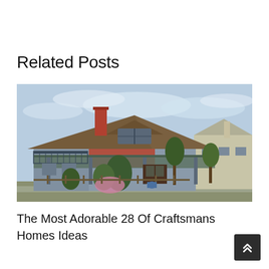Related Posts
[Figure (photo): Photograph of a Craftsman-style bungalow home with a brown shingle roof, red brick chimney, front porch with columns, balcony with railing, and surrounding trees and shrubs under a partly cloudy blue sky.]
The Most Adorable 28 Of Craftsmans Homes Ideas